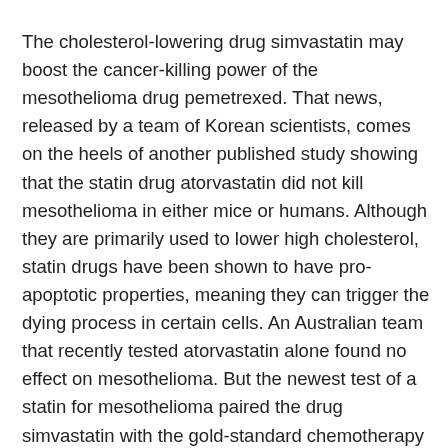The cholesterol-lowering drug simvastatin may boost the cancer-killing power of the mesothelioma drug pemetrexed. That news, released by a team of Korean scientists, comes on the heels of another published study showing that the statin drug atorvastatin did not kill mesothelioma in either mice or humans. Although they are primarily used to lower high cholesterol, statin drugs have been shown to have pro-apoptotic properties, meaning they can trigger the dying process in certain cells. An Australian team that recently tested atorvastatin alone found no effect on mesothelioma. But the newest test of a statin for mesothelioma paired the drug simvastatin with the gold-standard chemotherapy drug pemetrexed with more promising results. “We found that the combination of pemetrexed and simvastatin induced more ...